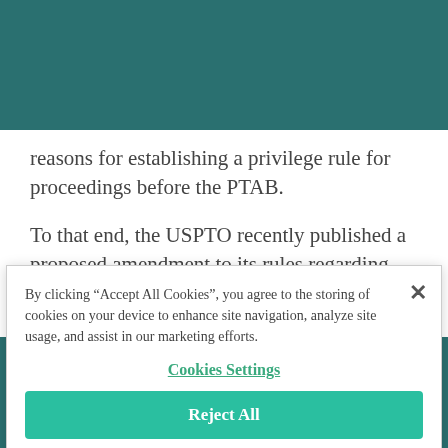reasons for establishing a privilege rule for proceedings before the PTAB.
To that end, the USPTO recently published a proposed amendment to its rules regarding the
By clicking "Accept All Cookies", you agree to the storing of cookies on your device to enhance site navigation, analyze site usage, and assist in our marketing efforts.
Cookies Settings
Reject All
Accept Cookies